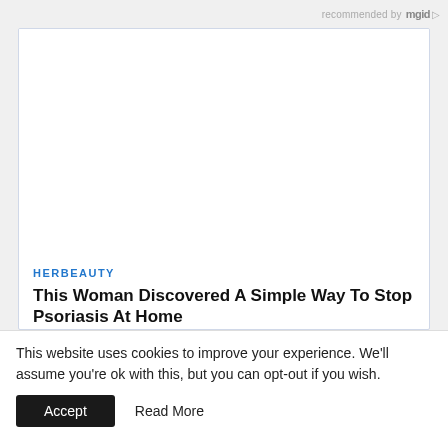recommended by mgid
[Figure (other): Advertisement card with white image area placeholder (no image loaded), showing HERBEAUTY label and article title 'This Woman Discovered A Simple Way To Stop Psoriasis At Home' with a LEARN MORE button]
This website uses cookies to improve your experience. We'll assume you're ok with this, but you can opt-out if you wish.
Accept   Read More